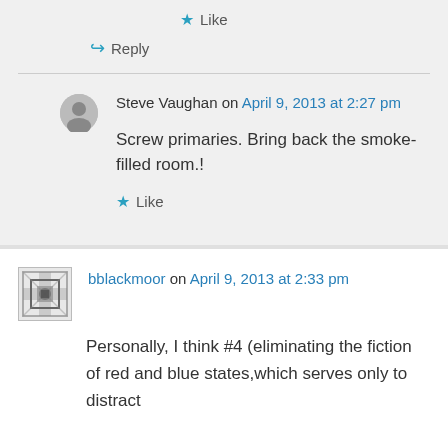★ Like
↪ Reply
Steve Vaughan on April 9, 2013 at 2:27 pm
Screw primaries. Bring back the smoke-filled room.!
★ Like
bblackmoor on April 9, 2013 at 2:33 pm
Personally, I think #4 (eliminating the fiction of red and blue states,which serves only to distract